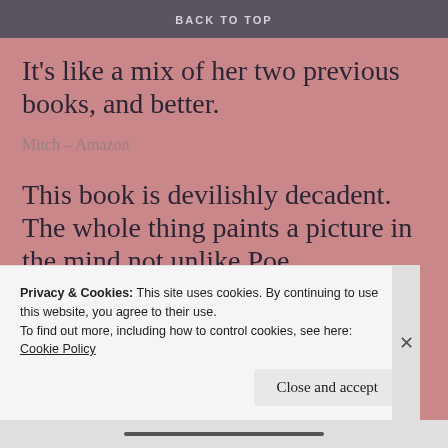BACK TO TOP
It’s like a mix of her two previous books, and better.
Mitch – Amazon
This book is devilishly decadent. The whole thing paints a picture in the mind not unlike Poe.
Privacy & Cookies: This site uses cookies. By continuing to use this website, you agree to their use.
To find out more, including how to control cookies, see here:
Cookie Policy
Close and accept